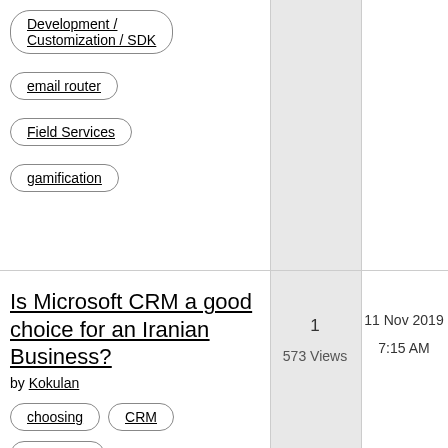Development / Customization / SDK
email router
Field Services
gamification
Is Microsoft CRM a good choice for an Iranian Business?
by Kokulan
choosing
CRM
Marketing
1
573 Views
11 Nov 2019
7:15 AM